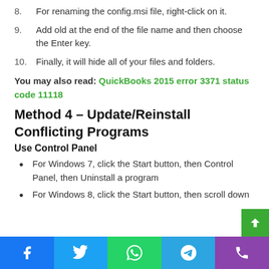8. For renaming the config.msi file, right-click on it.
9. Add old at the end of the file name and then choose the Enter key.
10. Finally, it will hide all of your files and folders.
You may also read: QuickBooks 2015 error 3371 status code 11118
Method 4 – Update/Reinstall Conflicting Programs
Use Control Panel
For Windows 7, click the Start button, then Control Panel, then Uninstall a program
For Windows 8, click the Start button, then scroll down